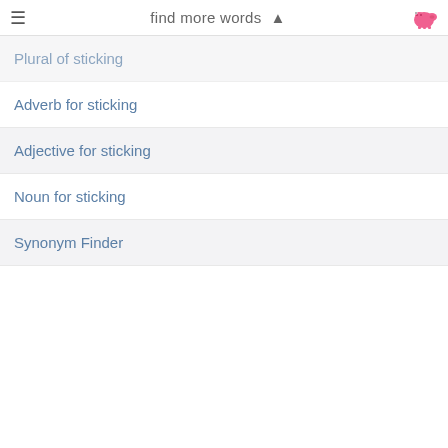find more words ▲
Plural of sticking
Adverb for sticking
Adjective for sticking
Noun for sticking
Synonym Finder